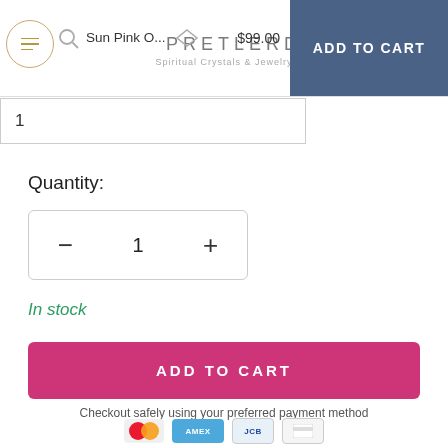Sun Pink O... | $99.00 | ADD TO CART | PRETLERD Spiritual Crystals & Jewelry
1
Quantity:
− 1 +
In stock
ADD TO CART
Checkout safely using your preferred payment method